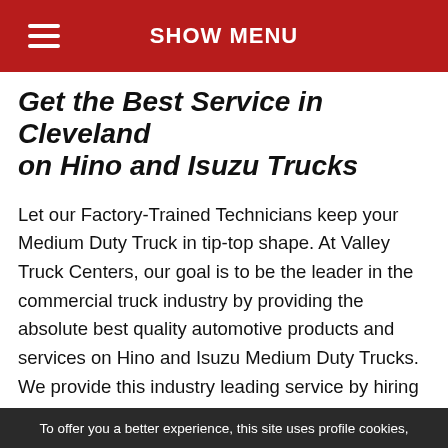SHOW MENU
Get the Best Service in Cleveland on Hino and Isuzu Trucks
Let our Factory-Trained Technicians keep your Medium Duty Truck in tip-top shape. At Valley Truck Centers, our goal is to be the leader in the commercial truck industry by providing the absolute best quality automotive products and services on Hino and Isuzu Medium Duty Trucks. We provide this industry leading service by hiring only the best employees and training them on all models of commercial trucks. We take pride in not only offering quality vehicles, but also in providing best in class service to our customers throughout the life of the vehicle. This
To offer you a better experience, this site uses profile cookies,